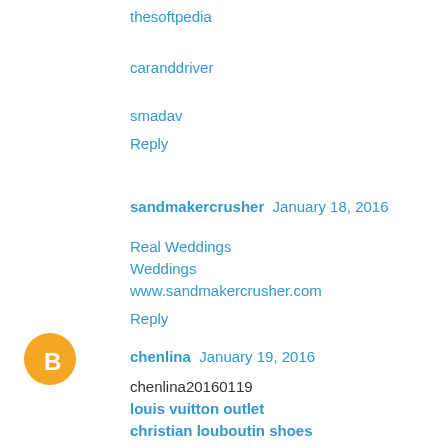thesoftpedia
caranddriver
smadav
Reply
sandmakercrusher  January 18, 2016
Real Weddings
Weddings
www.sandmakercrusher.com
Reply
chenlina  January 19, 2016
chenlina20160119
louis vuitton outlet
christian louboutin shoes
canada goose jackets
beats solo